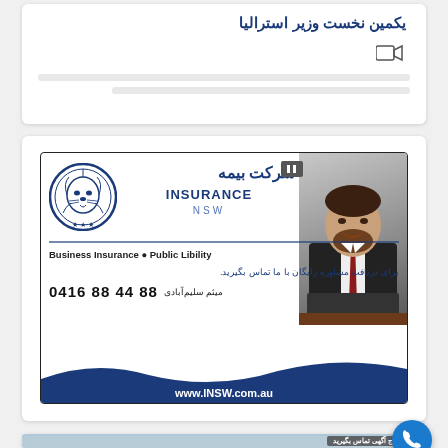یکمین نخست وزیر استرالیا
[Figure (screenshot): Video thumbnail placeholder with video camera icon]
[Figure (infographic): Insurance NSW advertisement banner with lion logo, Persian and English text, phone number 0416 88 44 88, agent میثم سلیم‌آبادی, website www.INSW.com.au, and photo of suited man]
[Figure (infographic): Second advertisement card with blue background, text برای درج آگهی تماس بگیرید (Contact us to place an ad), partial NSW ribbon logo, and blue phone call button]